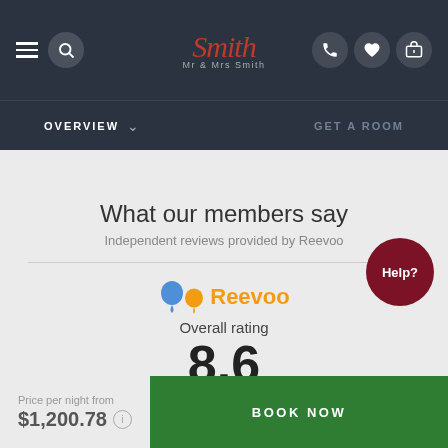[Figure (screenshot): Mr & Mrs Smith website top navigation bar with hamburger menu, search icon, logo, phone, heart, and suitcase icons on dark background]
OVERVIEW ∨   GET A ROOM
What our members say
Independent reviews provided by Reevoo
[Figure (logo): Reevoo logo with blue and orange balloon dots and orange text 'Reevoo']
Overall rating
8.6
Price per night from
$1,200.78
BOOK NOW